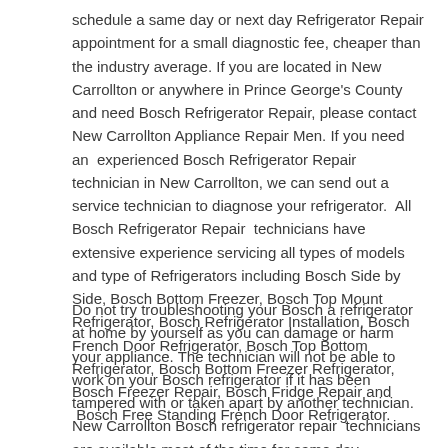schedule a same day or next day Refrigerator Repair appointment for a small diagnostic fee, cheaper than the industry average. If you are located in New Carrollton or anywhere in Prince George's County and need Bosch Refrigerator Repair, please contact New Carrollton Appliance Repair Men. If you need an  experienced Bosch Refrigerator Repair   technician in New Carrollton, we can send out a service technician to diagnose your refrigerator.  All Bosch Refrigerator Repair  technicians have extensive experience servicing all types of models and type of Refrigerators including Bosch Side by Side, Bosch Bottom Freezer, Bosch Top Mount Refrigerator, Bosch Refrigerator Installation, Bosch French Door Refrigerator, Bosch Top Bottom Refrigerator, Bosch Bottom Freezer Refrigerator, Bosch Freezer Repair, Bosch Fridge Repair and  Bosch Free Standing French Door Refrigerator.
Do not try troubleshooting your Bosch a refrigerator at home by yourself as you can damage or harm your appliance. The technician will not be able to work on your Bosch refrigerator if it has been tampered with or taken apart by another technician. New Carrollton Bosch refrigerator repair  technicians are available most of the time for same day appointments especially when it comes to refrigerators as we know how important it is to service quickly.